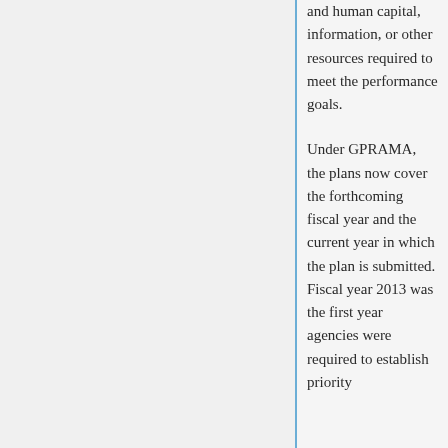and human capital, information, or other resources required to meet the performance goals.
Under GPRAMA, the plans now cover the forthcoming fiscal year and the current year in which the plan is submitted. Fiscal year 2013 was the first year agencies were required to establish priority